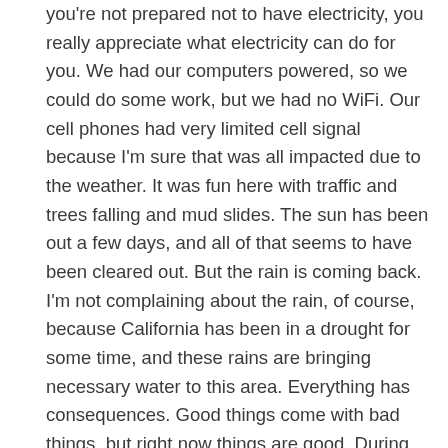you're not prepared not to have electricity, you really appreciate what electricity can do for you. We had our computers powered, so we could do some work, but we had no WiFi. Our cell phones had very limited cell signal because I'm sure that was all impacted due to the weather. It was fun here with traffic and trees falling and mud slides. The sun has been out a few days, and all of that seems to have been cleared out. But the rain is coming back. I'm not complaining about the rain, of course, because California has been in a drought for some time, and these rains are bringing necessary water to this area. Everything has consequences. Good things come with bad things, but right now things are good. During this time, we didn't want to use the water because the water here is on a sub-pump, and we're on a lower level, and we didn't want the water to back up on us and flood things – so we didn't want to do dishes. We could cook with gas, but we didn't want to have the dishes.
That's where my favorite real sesame corn thins came in handy. Have I praised them enough on this program? I'm just so glad that I have them, especially now, here where we are staying in